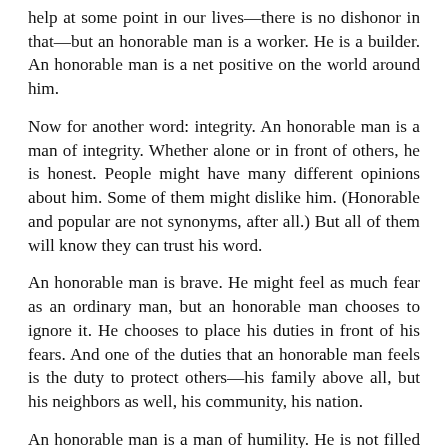help at some point in our lives—there is no dishonor in that—but an honorable man is a worker. He is a builder. An honorable man is a net positive on the world around him.
Now for another word: integrity. An honorable man is a man of integrity. Whether alone or in front of others, he is honest. People might have many different opinions about him. Some of them might dislike him. (Honorable and popular are not synonyms, after all.) But all of them will know they can trust his word.
An honorable man is brave. He might feel as much fear as an ordinary man, but an honorable man chooses to ignore it. He chooses to place his duties in front of his fears. And one of the duties that an honorable man feels is the duty to protect others—his family above all, but his neighbors as well, his community, his nation.
An honorable man is a man of humility. He is not filled with pride, nor does he waste time with vain boasting. In our